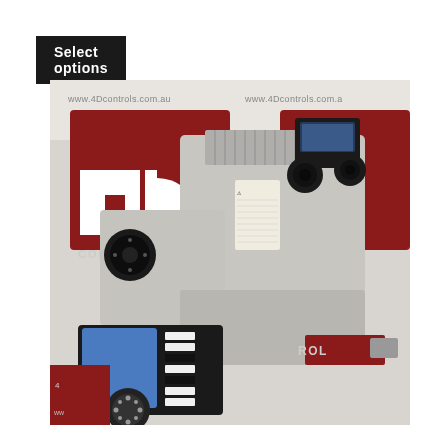Select options
[Figure (photo): Industrial electronic control unit / servo drive assembly photographed against a 4D Controls branded backdrop (www.4Dcontrols.com.au). The assembly includes a light-grey main drive unit with heat sink fins, two black cable gland connectors on top, a smaller grey module to the left with a large circular connector, and a blue-faced I/O module in the foreground with M12 circular connector and white DIP switches. The background shows the red and white 4D Controls logo and website URL.]